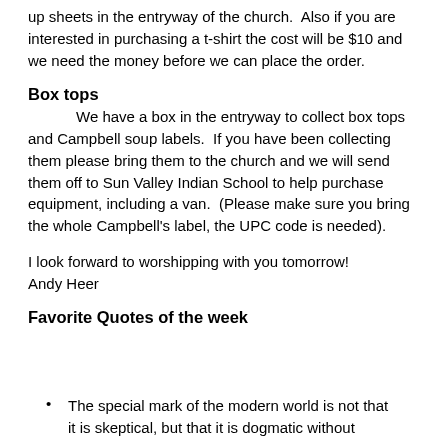up sheets in the entryway of the church.  Also if you are interested in purchasing a t-shirt the cost will be $10 and we need the money before we can place the order.
Box tops
We have a box in the entryway to collect box tops and Campbell soup labels.  If you have been collecting them please bring them to the church and we will send them off to Sun Valley Indian School to help purchase equipment, including a van.  (Please make sure you bring the whole Campbell's label, the UPC code is needed).
I look forward to worshipping with you tomorrow!
Andy Heer
Favorite Quotes of the week
The special mark of the modern world is not that it is skeptical, but that it is dogmatic without
it is skeptical, but that it is dogmatic without